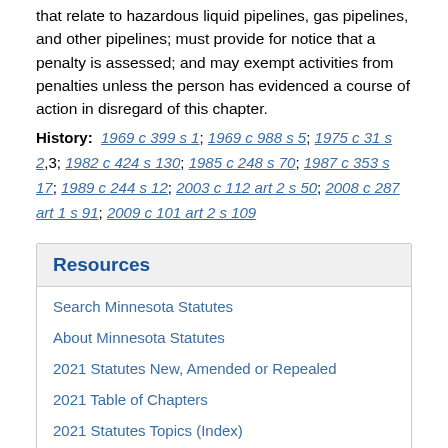that relate to hazardous liquid pipelines, gas pipelines, and other pipelines; must provide for notice that a penalty is assessed; and may exempt activities from penalties unless the person has evidenced a course of action in disregard of this chapter.
History: 1969 c 399 s 1; 1969 c 988 s 5; 1975 c 31 s 2,3; 1982 c 424 s 130; 1985 c 248 s 70; 1987 c 353 s 17; 1989 c 244 s 12; 2003 c 112 art 2 s 50; 2008 c 287 art 1 s 91; 2009 c 101 art 2 s 109
Resources
Search Minnesota Statutes
About Minnesota Statutes
2021 Statutes New, Amended or Repealed
2021 Table of Chapters
2021 Statutes Topics (Index)
Chapter 299F
Table of Sections